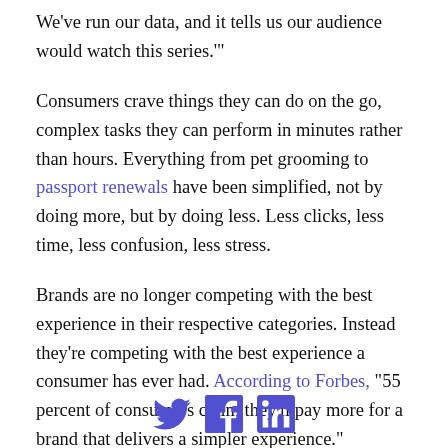We've run our data, and it tells us our audience would watch this series.'"
Consumers crave things they can do on the go, complex tasks they can perform in minutes rather than hours. Everything from pet grooming to passport renewals have been simplified, not by doing more, but by doing less. Less clicks, less time, less confusion, less stress.
Brands are no longer competing with the best experience in their respective categories. Instead they're competing with the best experience a consumer has ever had. According to Forbes, "55 percent of consumers claim they'll pay more for a brand that delivers a simpler experience."
[Figure (infographic): Social media sharing icons: Twitter bird, Facebook f, LinkedIn in — all in purple/indigo color]